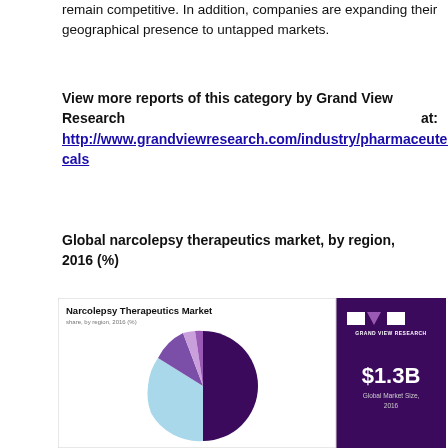remain competitive. In addition, companies are expanding their geographical presence to untapped markets.
View more reports of this category by Grand View Research at: http://www.grandviewresearch.com/industry/pharmaceuticals
Global narcolepsy therapeutics market, by region, 2016 (%)
[Figure (pie-chart): Pie chart showing narcolepsy therapeutics market share by region, 2016 (%). Segments include a large dark purple slice (North America, ~50%), a large light blue slice (~30%), a medium purple slice (~10%), a small lavender slice (~5%), and a small purple/pink slice (~5%). A dark purple sidebar shows $1.3B Global Market Size, 2016 with Grand View Research logo.]